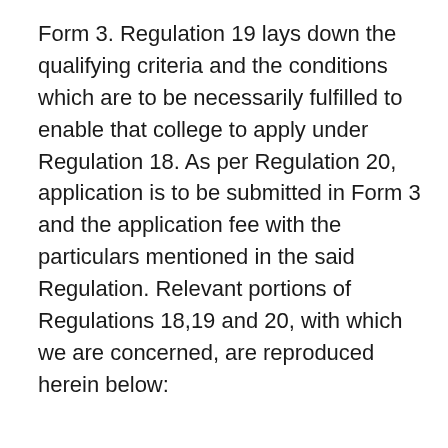Form 3. Regulation 19 lays down the qualifying criteria and the conditions which are to be necessarily fulfilled to enable that college to apply under Regulation 18. As per Regulation 20, application is to be submitted in Form 3 and the application fee with the particulars mentioned in the said Regulation. Relevant portions of Regulations 18,19 and 20, with which we are concerned, are reproduced herein below:
“18. Application for increasing the admission capacity:-